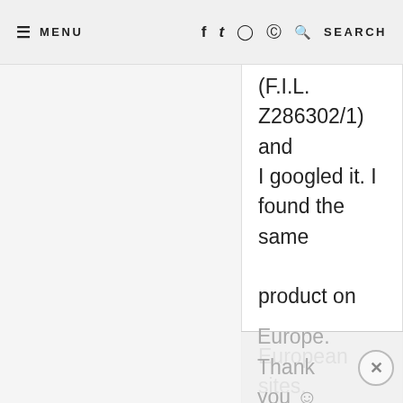≡ MENU   f  t  ⊙  ⊕  🔍 SEARCH
(F.I.L. Z286302/1) and I googled it. I found the same product on European sites. I think it is a code for the European market, in fact I bought my lipstick in Europe. Thank you ☺